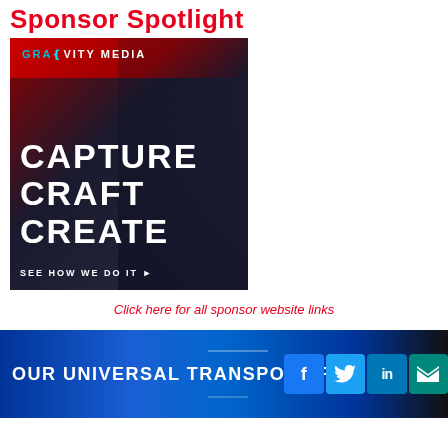Sponsor Spotlight
[Figure (photo): Gravity Media advertisement showing a racing driver in helmet, with text CAPTURE CRAFT CREATE and SEE HOW WE DO IT]
Click here for all sponsor website links
[Figure (photo): Banner advertisement with text OUR UNIVERSAL TRANSPORT PLA[TFORM] and social media icons for Facebook, Twitter, LinkedIn, and Email]